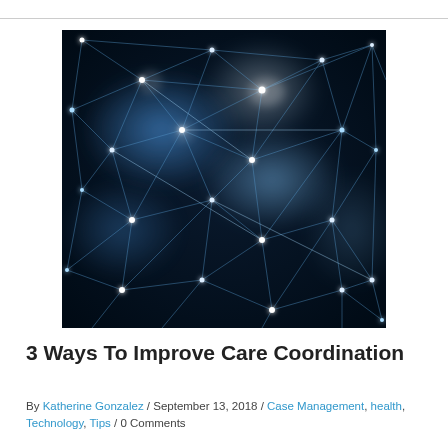[Figure (photo): Dark abstract network visualization with glowing blue nodes and connecting lines forming a triangulated mesh pattern against a dark blue/black background, with bright white glow hotspots.]
3 Ways To Improve Care Coordination
By Katherine Gonzalez / September 13, 2018 / Case Management, health, Technology, Tips / 0 Comments